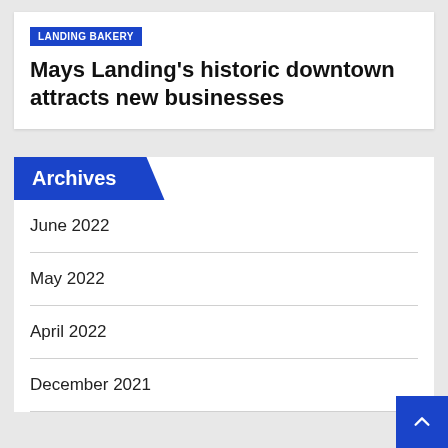LANDING BAKERY
Mays Landing's historic downtown attracts new businesses
Archives
June 2022
May 2022
April 2022
December 2021